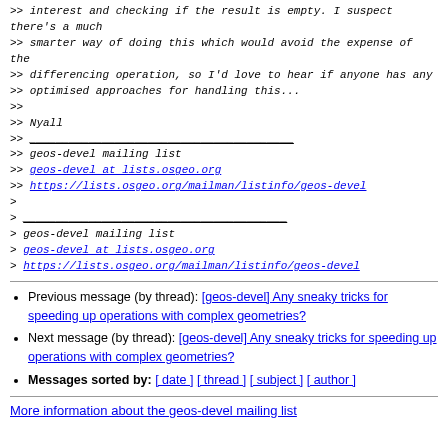>> interest and checking if the result is empty. I suspect there's a much
>> smarter way of doing this which would avoid the expense of the
>> differencing operation, so I'd love to hear if anyone has any
>> optimised approaches for handling this...
>>
>> Nyall
>> ___________________________________
>> geos-devel mailing list
>> geos-devel at lists.osgeo.org
>> https://lists.osgeo.org/mailman/listinfo/geos-devel
>
> ___________________________________
> geos-devel mailing list
> geos-devel at lists.osgeo.org
> https://lists.osgeo.org/mailman/listinfo/geos-devel
Previous message (by thread): [geos-devel] Any sneaky tricks for speeding up operations with complex geometries?
Next message (by thread): [geos-devel] Any sneaky tricks for speeding up operations with complex geometries?
Messages sorted by: [ date ] [ thread ] [ subject ] [ author ]
More information about the geos-devel mailing list